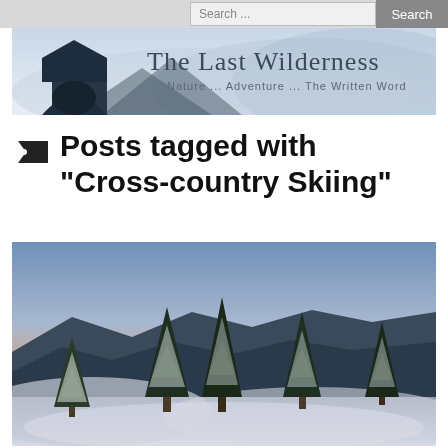Search ...  Search
[Figure (illustration): The Last Wilderness blog banner with misty mountain landscape, dark house/cabin silhouette on left, text 'The Last Wilderness' and subtitle 'Nature ... Adventure ... The Written Word']
Posts tagged with "Cross-country Skiing"
[Figure (photo): Winter mountain landscape at dusk/dawn showing snow-covered evergreen trees in the foreground with mountains and a colorful pink-orange sunset sky in the background]